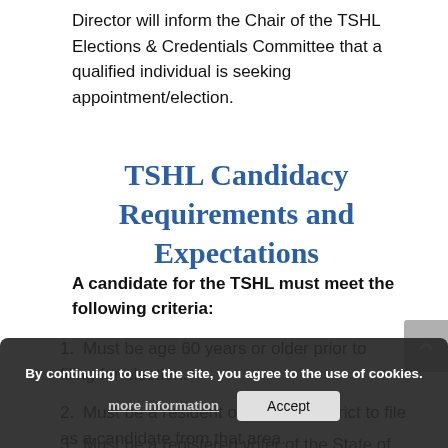Director will inform the Chair of the TSHL Elections & Credentials Committee that a qualified individual is seeking appointment/election.
TSHL Candidacy Requirements and Expectations
A candidate for the TSHL must meet the following criteria:
1. Must be age 60 years or older prior to filing for election.
2. Must be a resident of the AAA district to file as a candidate from that area.
3. Must be a registered voter of the State of Texas. The Candidate Information Form (Form 103) will be used